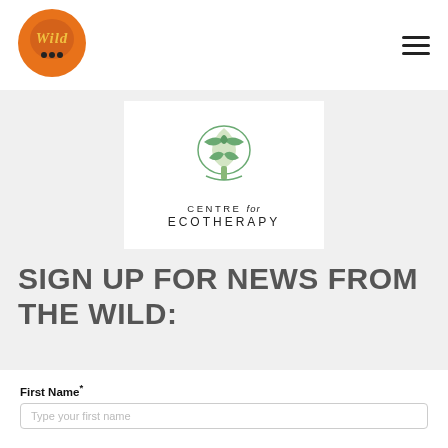[Figure (logo): Wild logo - orange circular badge with 'Wild' text in yellow and three dots below]
[Figure (logo): Centre for Ecotherapy logo - green tree illustration above text reading 'CENTRE for ECOTHERAPY']
SIGN UP FOR NEWS FROM THE WILD:
First Name*
Type your first name
Organisation*
Type your organisation's name